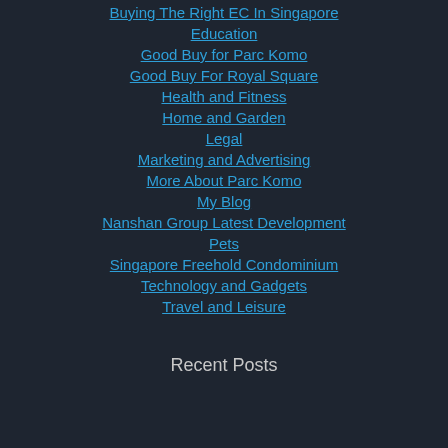Buying The Right EC In Singapore
Education
Good Buy for Parc Komo
Good Buy For Royal Square
Health and Fitness
Home and Garden
Legal
Marketing and Advertising
More About Parc Komo
My Blog
Nanshan Group Latest Development
Pets
Singapore Freehold Condominium
Technology and Gadgets
Travel and Leisure
Recent Posts